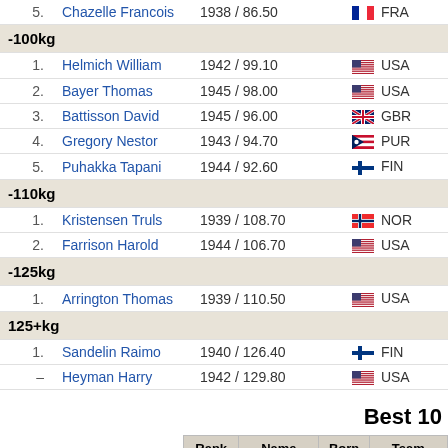| Rank | Name | Born / Score | Team |
| --- | --- | --- | --- |
| 5. | Chazelle Francois | 1938 / 86.50 | FRA |
| -100kg |  |  |  |
| 1. | Helmich William | 1942 / 99.10 | USA |
| 2. | Bayer Thomas | 1945 / 98.00 | USA |
| 3. | Battisson David | 1945 / 96.00 | GBR |
| 4. | Gregory Nestor | 1943 / 94.70 | PUR |
| 5. | Puhakka Tapani | 1944 / 92.60 | FIN |
| -110kg |  |  |  |
| 1. | Kristensen Truls | 1939 / 108.70 | NOR |
| 2. | Farrison Harold | 1944 / 106.70 | USA |
| -125kg |  |  |  |
| 1. | Arrington Thomas | 1939 / 110.50 | USA |
| 125+kg |  |  |  |
| 1. | Sandelin Raimo | 1940 / 126.40 | FIN |
| – | Heyman Harry | 1942 / 129.80 | USA |
Best 10
| Rank | Name | Born | Team |
| --- | --- | --- | --- |
| 🥇 1. | Sato Toshihiko | 1940 | Japan |
| 🥈 2. | Kitano Toshio | 1946 | Japan |
| 🥉 3. | Trujillo Robert | 1944 | U.S.Ameri |
| 4. | Oshiro Shinjun | 1943 | Japan |